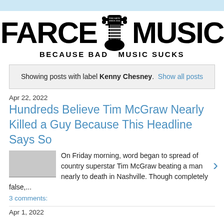[Figure (logo): Farce The Music logo with guitar headstock graphic and tagline BECAUSE BAD MUSIC SUCKS]
Showing posts with label Kenny Chesney. Show all posts
Apr 22, 2022
Hundreds Believe Tim McGraw Nearly Killed a Guy Because This Headline Says So
On Friday morning, word began to spread of country superstar Tim McGraw beating a man nearly to death in Nashville. Though completely false,...
3 comments:
Apr 1, 2022